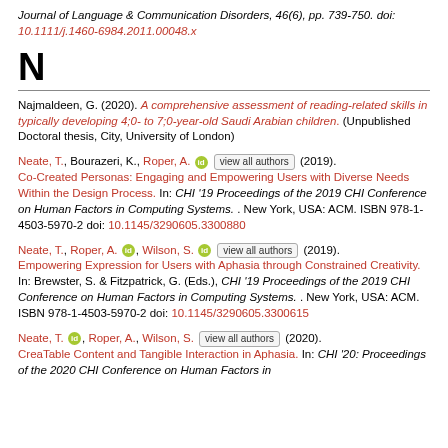Journal of Language & Communication Disorders, 46(6), pp. 739-750. doi: 10.1111/j.1460-6984.2011.00048.x
N
Najmaldeen, G. (2020). A comprehensive assessment of reading-related skills in typically developing 4;0- to 7;0-year-old Saudi Arabian children. (Unpublished Doctoral thesis, City, University of London)
Neate, T., Bourazeri, K., Roper, A. [orcid] view all authors (2019). Co-Created Personas: Engaging and Empowering Users with Diverse Needs Within the Design Process. In: CHI '19 Proceedings of the 2019 CHI Conference on Human Factors in Computing Systems. . New York, USA: ACM. ISBN 978-1-4503-5970-2 doi: 10.1145/3290605.3300880
Neate, T., Roper, A. [orcid], Wilson, S. [orcid] view all authors (2019). Empowering Expression for Users with Aphasia through Constrained Creativity. In: Brewster, S. & Fitzpatrick, G. (Eds.), CHI '19 Proceedings of the 2019 CHI Conference on Human Factors in Computing Systems. . New York, USA: ACM. ISBN 978-1-4503-5970-2 doi: 10.1145/3290605.3300615
Neate, T. [orcid], Roper, A., Wilson, S. view all authors (2020). CreaTable Content and Tangible Interaction in Aphasia. In: CHI '20: Proceedings of the 2020 CHI Conference on Human Factors in